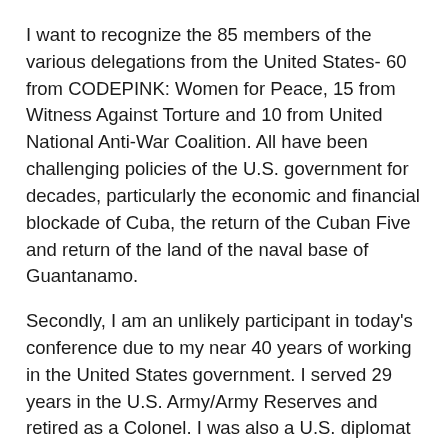I want to recognize the 85 members of the various delegations from the United States- 60 from CODEPINK: Women for Peace, 15 from Witness Against Torture and 10 from United National Anti-War Coalition. All have been challenging policies of the U.S. government for decades, particularly the economic and financial blockade of Cuba, the return of the Cuban Five and return of the land of the naval base of Guantanamo.
Secondly, I am an unlikely participant in today's conference due to my near 40 years of working in the United States government. I served 29 years in the U.S. Army/Army Reserves and retired as a Colonel. I was also a U.S. diplomat for 16 years and served in U.S. Embassies in Nicaragua, Grenada, Somalia, Uzbekistan, Kyrgyzstan, Sierra Leone, Micronesia, Afghanistan and Mongolia.
However, in March 2003, I was one of three U.S. government employees who resigned in opposition to President Bush's war on Iraq. Since then, I, as well as most...